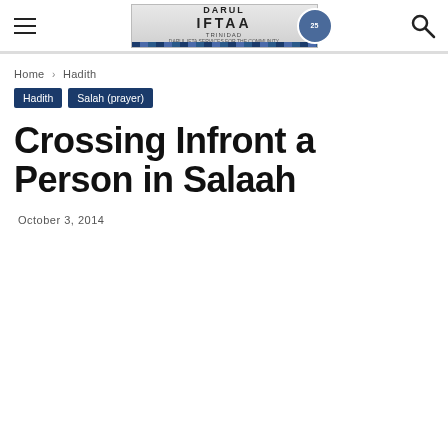Darul Iftaa Trinidad — site header with navigation (hamburger menu, logo, search icon)
Home › Hadith
Hadith
Salah (prayer)
Crossing Infront a Person in Salaah
October 3, 2014